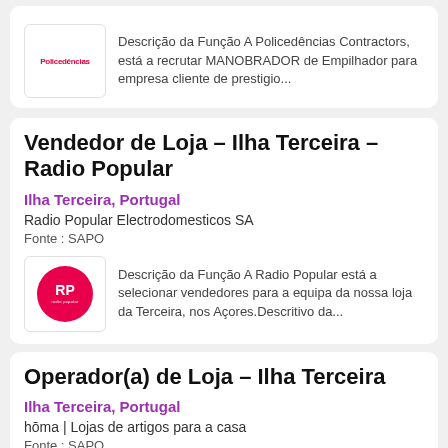[Figure (logo): Policedencias logo in red text on white background with border]
Descrição da Função A Policedências Contractors, está a recrutar MANOBRADOR de Empilhador para empresa cliente de prestigio...
Vendedor de Loja – Ilha Terceira – Radio Popular
Ilha Terceira, Portugal
Radio Popular Electrodomesticos SA
Fonte : SAPO
[Figure (logo): Radio Popular RP badge logo in pink/red circular badge]
Descrição da Função A Radio Popular está a selecionar vendedores para a equipa da nossa loja da Terceira, nos Açores.Descritivo da...
Operador(a) de Loja – Ilha Terceira
Ilha Terceira, Portugal
hōma | Lojas de artigos para a casa
Fonte : SAPO